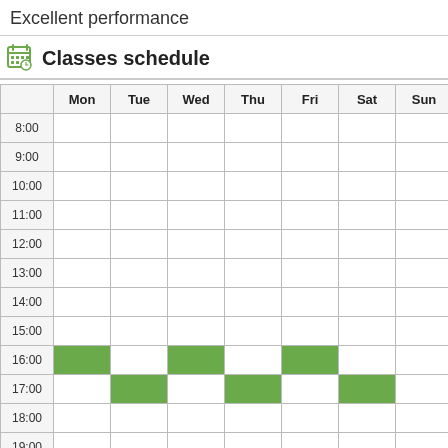Excellent performance
Classes schedule
|  | Mon | Tue | Wed | Thu | Fri | Sat | Sun |
| --- | --- | --- | --- | --- | --- | --- | --- |
| 8:00 |  |  |  |  |  |  |  |
| 9:00 |  |  |  |  |  |  |  |
| 10:00 |  |  |  |  |  |  |  |
| 11:00 |  |  |  |  |  |  |  |
| 12:00 |  |  |  |  |  |  |  |
| 13:00 |  |  |  |  |  |  |  |
| 14:00 |  |  |  |  |  |  |  |
| 15:00 |  |  |  |  |  |  |  |
| 16:00 | green |  | green |  | green |  |  |
| 17:00 |  | green |  | green |  | green |  |
| 18:00 |  |  |  |  |  |  |  |
| 19:00 |  |  |  |  |  |  |  |